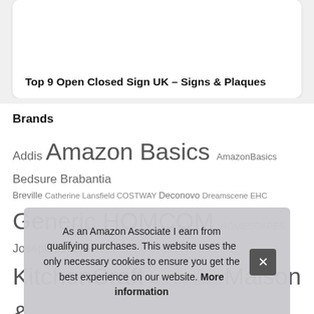Top 9 Open Closed Sign UK – Signs & Plaques
Brands
Addis Amazon Basics AmazonBasics Bedsure Brabantia Breville Catherine Lansfield COSTWAY Deconovo Dreamscene EHC Generic HOMCOM HOMESCAPES Joseph Joseph KitchenCraft Kuou LAKELAND Maison & White MasterClass mDesign Merriway Morphy Richards N/A Ho SO VAS
As an Amazon Associate I earn from qualifying purchases. This website uses the only necessary cookies to ensure you get the best experience on our website. More information